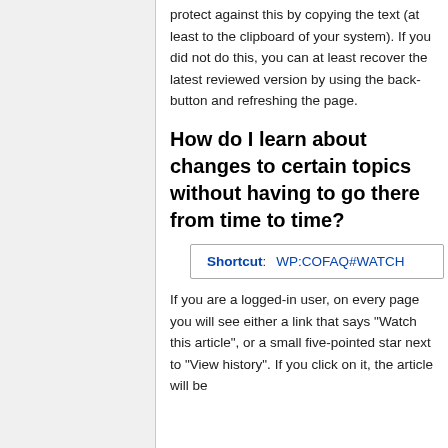protect against this by copying the text (at least to the clipboard of your system). If you did not do this, you can at least recover the latest reviewed version by using the back-button and refreshing the page.
How do I learn about changes to certain topics without having to go there from time to time?
Shortcut: WP:COFAQ#WATCH
If you are a logged-in user, on every page you will see either a link that says "Watch this article", or a small five-pointed star next to "View history". If you click on it, the article will be